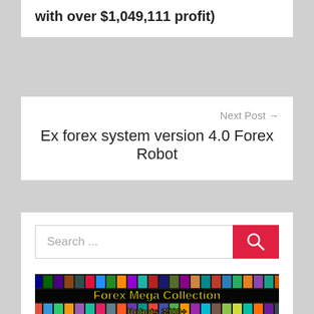with over $1,049,111 profit)
Next Post →
Ex forex system version 4.0 Forex Robot
[Figure (screenshot): Search bar with red search button and magnifying glass icon]
[Figure (photo): Forex Mega Collection - Robots 3500+ banner image with grid of book/software covers and yellow bold text overlay]